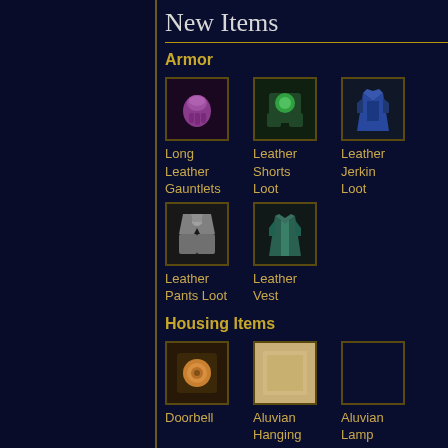New Items
Armor
Long Leather Gauntlets
Leather Shorts Loot
Leather Jerkin Loot
Leather Pants Loot
Leather Vest
Housing Items
Doorbell
Aluvian Hanging Rug
Aluvian Lamp